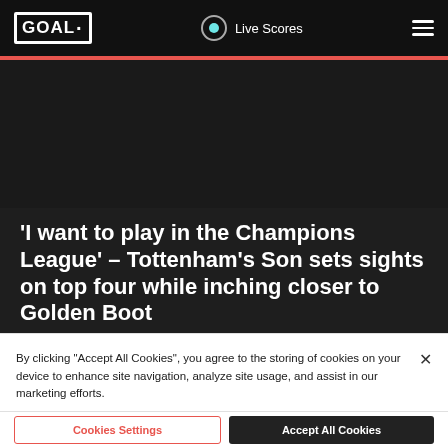GOAL · Live Scores
[Figure (photo): Dark hero image area for article photo]
'I want to play in the Champions League' - Tottenham's Son sets sights on top four while inching closer to Golden Boot
By clicking “Accept All Cookies”, you agree to the storing of cookies on your device to enhance site navigation, analyze site usage, and assist in our marketing efforts.
Cookies Settings   Accept All Cookies